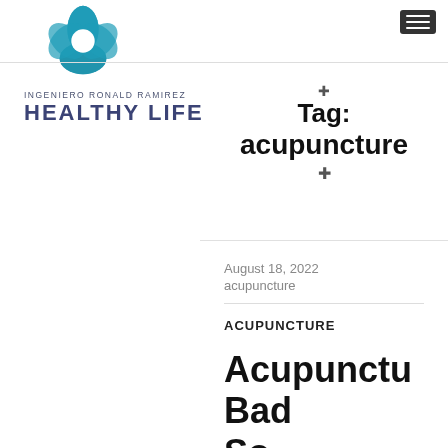[Figure (logo): Flower-shaped teal geometric logo with overlapping petals and white center, above text 'INGENIERO RONALD RAMIREZ HEALTHY LIFE']
✛Tag:
acupuncture
August 18, 2022
acupuncture
ACUPUNCTURE
Acupunctu
Bad
So...